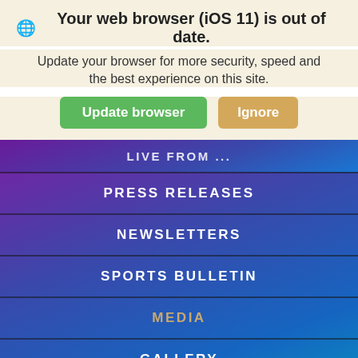🌐 Your web browser (iOS 11) is out of date.
Update your browser for more security, speed and the best experience on this site.
Update browser | Ignore
LIVE FROM ...
PRESS RELEASES
NEWSLETTERS
SPORTS BULLETIN
MEDIA
GALLERY
PRESS SERVICES
MAGAZINE